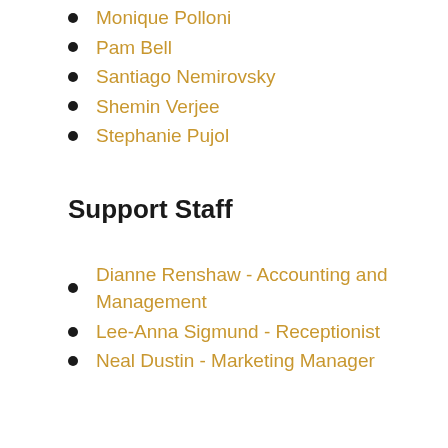Monique Polloni
Pam Bell
Santiago Nemirovsky
Shemin Verjee
Stephanie Pujol
Support Staff
Dianne Renshaw - Accounting and Management
Lee-Anna Sigmund - Receptionist
Neal Dustin - Marketing Manager